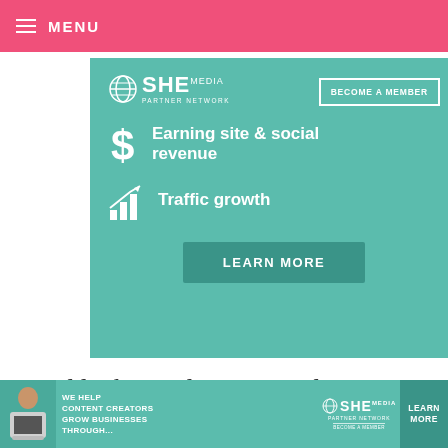MENU
[Figure (infographic): SHE Media Partner Network advertisement banner with teal/mint background. Shows SHE MEDIA logo, 'BECOME A MEMBER' button, dollar sign icon with 'Earning site & social revenue', bar chart icon with 'Traffic growth', and a 'LEARN MORE' button.]
Good luck – and now I need to go clear off my dining room table.
[Figure (infographic): Bottom banner ad for SHE Media Partner Network. Shows a woman with laptop, text 'WE HELP CONTENT CREATORS GROW BUSINESSES THROUGH...', SHE MEDIA PARTNER NETWORK BECOME A MEMBER logo, and LEARN MORE button.]